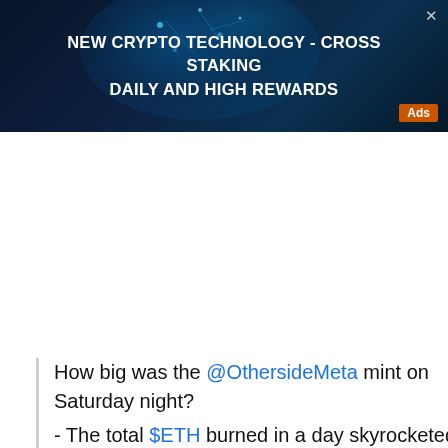[Figure (other): Dark blue/teal background advertisement banner with glowing particle effects. Text reads: NEW CRYPTO TECHNOLOGY - CROSS STAKING DAILY AND HIGH REWARDS. Orange 'Ads' badge in bottom right. Close X in top right.]
How big was the @OthersideMeta mint on Saturday night?
- The total $ETH burned in a day skyrocketed